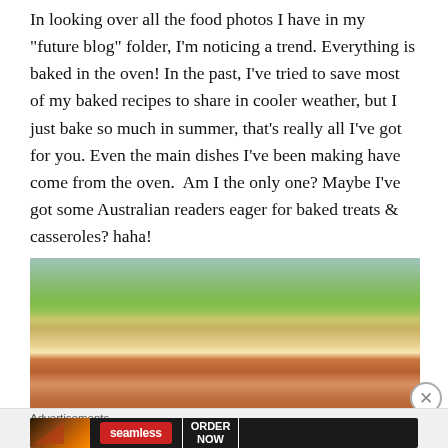In looking over all the food photos I have in my "future blog" folder, I'm noticing a trend. Everything is baked in the oven! In the past, I've tried to save most of my baked recipes to share in cooler weather, but I just bake so much in summer, that's really all I've got for you. Even the main dishes I've been making have come from the oven.  Am I the only one? Maybe I've got some Australian readers eager for baked treats & casseroles? haha!
[Figure (photo): Close-up photo of baked food (appears to be meat or pastry) on a white plate, with green grass and a tree in the background outdoors]
Advertisements
[Figure (photo): Seamless food delivery advertisement banner with pizza image on dark background, Seamless logo in red, and ORDER NOW button]